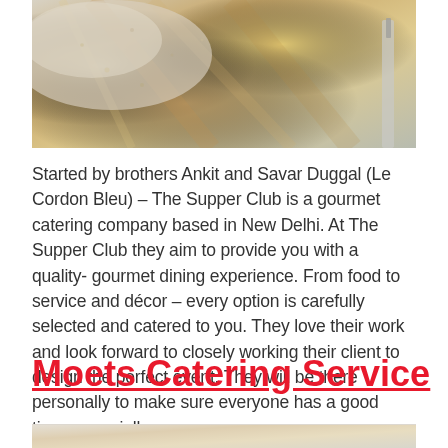[Figure (photo): Close-up photo of food on a wooden cutting board, appears to be a bread or pastry with a crumbly topping, with a knife visible on the right edge.]
Started by brothers Ankit and Savar Duggal (Le Cordon Bleu) – The Supper Club is a gourmet catering company based in New Delhi. At The Supper Club they aim to provide you with a quality- gourmet dining experience. From food to service and décor – every option is carefully selected and catered to you. They love their work and look forward to closely working their client to design the perfect event. They will be there personally to make sure everyone has a good time, especially you.
Moets Catering Service
[Figure (photo): Bottom portion of a food photograph, partially visible at the bottom of the page.]